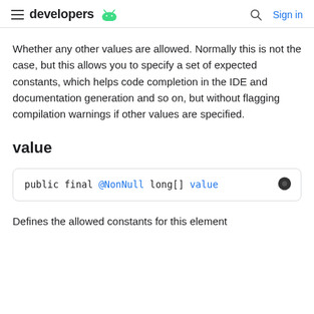developers | Sign in
Whether any other values are allowed. Normally this is not the case, but this allows you to specify a set of expected constants, which helps code completion in the IDE and documentation generation and so on, but without flagging compilation warnings if other values are specified.
value
public final @NonNull long[] value
Defines the allowed constants for this element